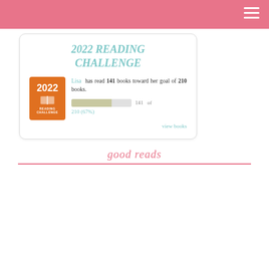2022 READING CHALLENGE
Lisa has read 141 books toward her goal of 210 books. 141 of 210 (67%)
view books
good reads